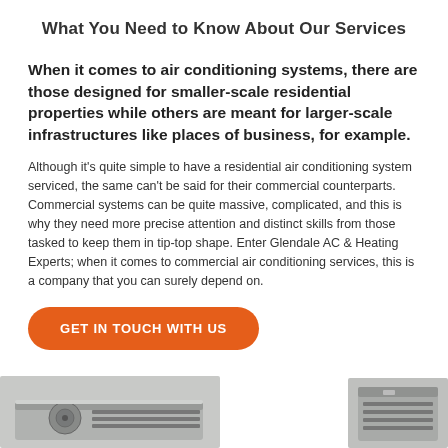What You Need to Know About Our Services
When it comes to air conditioning systems, there are those designed for smaller-scale residential properties while others are meant for larger-scale infrastructures like places of business, for example.
Although it's quite simple to have a residential air conditioning system serviced, the same can't be said for their commercial counterparts. Commercial systems can be quite massive, complicated, and this is why they need more precise attention and distinct skills from those tasked to keep them in tip-top shape. Enter Glendale AC & Heating Experts; when it comes to commercial air conditioning services, this is a company that you can surely depend on.
GET IN TOUCH WITH US
[Figure (photo): Two HVAC/AC unit images at the bottom of the page — a large rooftop AC unit on the left and a smaller AC unit on the right]